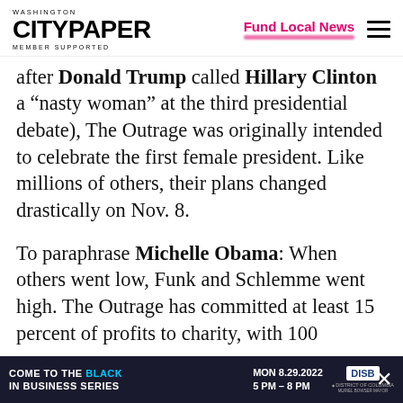WASHINGTON CITYPAPER MEMBER SUPPORTED | Fund Local News
after Donald Trump called Hillary Clinton a “nasty woman” at the third presidential debate), The Outrage was originally intended to celebrate the first female president. Like millions of others, their plans changed drastically on Nov. 8.
To paraphrase Michelle Obama: When others went low, Funk and Schlemme went high. The Outrage has committed at least 15 percent of profits to charity, with 100 [percent of the profits from their inaugural li...]
[Figure (screenshot): Advertisement bar: COME TO THE BLACK IN BUSINESS SERIES, MON 8.29.2022 5 PM - 8 PM, DISB logo, DC Mayor Muriel Bowser branding]